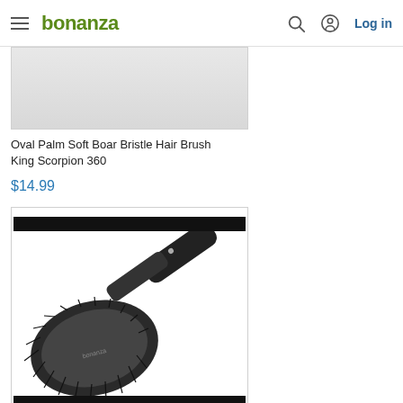bonanza  Log in
[Figure (photo): Partial product image of Oval Palm Soft Boar Bristle Hair Brush King Scorpion 360 (top portion clipped)]
Oval Palm Soft Boar Bristle Hair Brush King Scorpion 360
$14.99
[Figure (photo): Hair brush - Hair Advance Techniques black cushion brush with oval head and handle, shown on white background with black bars at top and bottom]
Hair Advance Techniques Black Cushion Brush NIP Approximately 9 inches long